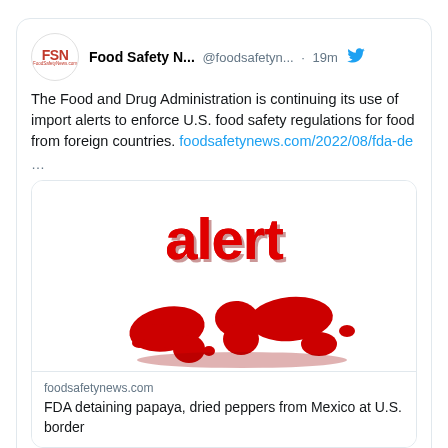[Figure (screenshot): Twitter/X tweet from Food Safety News (@foodsafetyn...) posted 19 minutes ago. The tweet reads: 'The Food and Drug Administration is continuing its use of import alerts to enforce U.S. food safety regulations for food from foreign countries. foodsafetynews.com/2022/08/fda-de' followed by '...' and a link preview card showing a red 3D 'alert' text above a red 3D world map graphic, with domain 'foodsafetynews.com' and headline 'FDA detaining papaya, dried peppers from Mexico at U.S. border'. Below the tweet are comment and like action icons.]